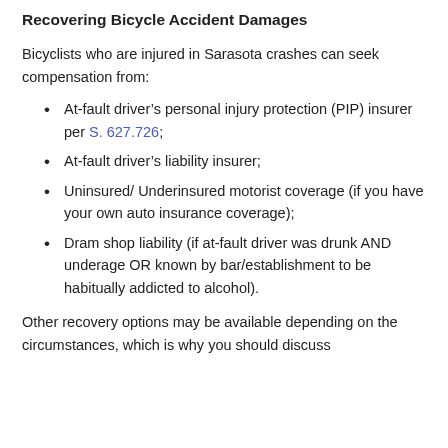Recovering Bicycle Accident Damages
Bicyclists who are injured in Sarasota crashes can seek compensation from:
At-fault driver's personal injury protection (PIP) insurer per S. 627.726;
At-fault driver's liability insurer;
Uninsured/ Underinsured motorist coverage (if you have your own auto insurance coverage);
Dram shop liability (if at-fault driver was drunk AND underage OR known by bar/establishment to be habitually addicted to alcohol).
Other recovery options may be available depending on the circumstances, which is why you should discuss